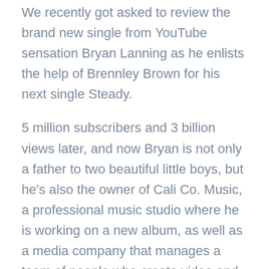We recently got asked to review the brand new single from YouTube sensation Bryan Lanning as he enlists the help of Brennley Brown for his next single Steady.
5 million subscribers and 3 billion views later, and now Bryan is not only a father to two beautiful little boys, but he's also the owner of Cali Co. Music, a professional music studio where he is working on a new album, as well as a media company that manages a team of people who create video and audio content for brands and other